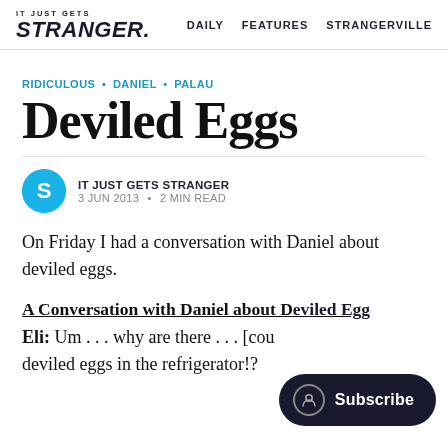IT JUST GETS STRANGER. | DAILY | FEATURES | STRANGERVILLE
RIDICULOUS • DANIEL • PALAU
Deviled Eggs
IT JUST GETS STRANGER
3 JUN 2013 • 2 MIN READ
On Friday I had a conversation with Daniel about deviled eggs.
A Conversation with Daniel about Deviled Eggs
Eli: Um . . . why are there . . . [cou deviled eggs in the refrigerator!?